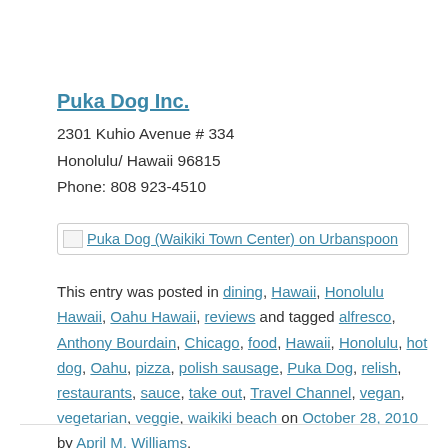Puka Dog Inc.
2301 Kuhio Avenue # 334
Honolulu/ Hawaii 96815
Phone: 808 923-4510
[Figure (other): Linked image badge for Puka Dog (Waikiki Town Center) on Urbanspoon]
This entry was posted in dining, Hawaii, Honolulu Hawaii, Oahu Hawaii, reviews and tagged alfresco, Anthony Bourdain, Chicago, food, Hawaii, Honolulu, hot dog, Oahu, pizza, polish sausage, Puka Dog, relish, restaurants, sauce, take out, Travel Channel, vegan, vegetarian, veggie, waikiki beach on October 28, 2010 by April M. Williams.